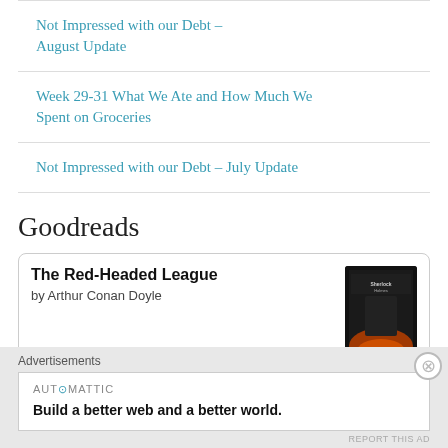Not Impressed with our Debt – August Update
Week 29-31 What We Ate and How Much We Spent on Groceries
Not Impressed with our Debt – July Update
Goodreads
The Red-Headed League by Arthur Conan Doyle
Advertisements
AUTOMATTIC
Build a better web and a better world.